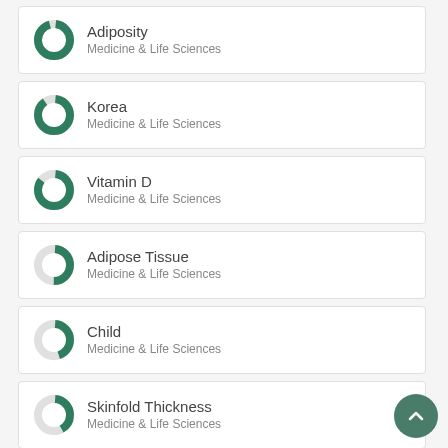Adiposity — Medicine & Life Sciences
Korea — Medicine & Life Sciences
Vitamin D — Medicine & Life Sciences
Adipose Tissue — Medicine & Life Sciences
Child — Medicine & Life Sciences
Skinfold Thickness — Medicine & Life Sciences
Waist Circumference — Medicine & Life Sciences